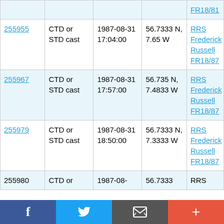| ID | Type | Date/Time | Coordinates | Vessel/Cruise |
| --- | --- | --- | --- | --- |
|  |  | FR18/81 |  |  |
| 255955 | CTD or STD cast | 1987-08-31 17:04:00 | 56.7333 N, 7.65 W | RRS Frederick Russell FR18/87 |
| 255967 | CTD or STD cast | 1987-08-31 17:57:00 | 56.735 N, 7.4833 W | RRS Frederick Russell FR18/87 |
| 255979 | CTD or STD cast | 1987-08-31 18:50:00 | 56.7333 N, 7.3333 W | RRS Frederick Russell FR18/87 |
| 255980 | CTD or | 1987-08- | 56.7333 | RRS |